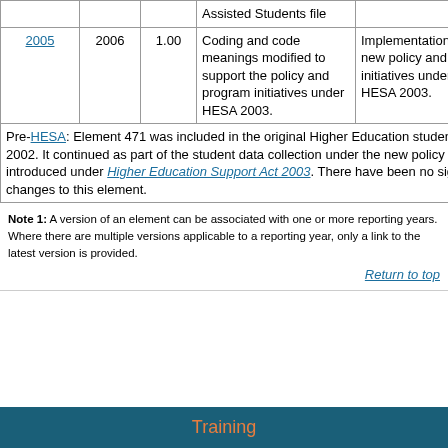| Year | Year | Ver | Description | Reason for change | Date | Date |
| --- | --- | --- | --- | --- | --- | --- |
|  |  |  | Assisted Students file |  |  |  |
| 2005 | 2006 | 1.00 | Coding and code meanings modified to support the policy and program initiatives under HESA 2003. | Implementation of new policy and initiatives under HESA 2003. | 9 Dec 2004 | 9 ... |
Pre-HESA: Element 471 was included in the original Higher Education student data collection in 2002. It continued as part of the student data collection under the new policy and program initiatives introduced under Higher Education Support Act 2003. There have been no significant coding changes to this element.
Note 1: A version of an element can be associated with one or more reporting years. Where there are multiple versions applicable to a reporting year, only a link to the latest version is provided.
Return to top
Training